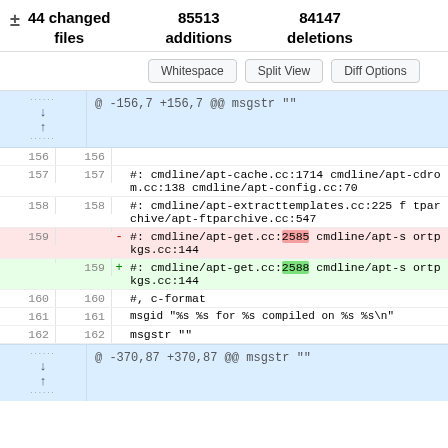± 44 changed files    85513 additions    84147 deletions
Whitespace   Split View   Diff Options
@ -156,7 +156,7 @@ msgstr ""
156  156
157  157   #: cmdline/apt-cache.cc:1714 cmdline/apt-cdrom.cc:138 cmdline/apt-config.cc:70
158  158   #: cmdline/apt-extracttemplates.cc:225 ftparchive/apt-ftparchive.cc:547
159       -  #: cmdline/apt-get.cc:2585 cmdline/apt-sortpkgs.cc:144
     159  +  #: cmdline/apt-get.cc:2588 cmdline/apt-sortpkgs.cc:144
160  160   #, c-format
161  161   msgid "%s %s for %s compiled on %s %s\n"
162  162   msgstr ""
@ -370,87 +370,87 @@ msgstr ""